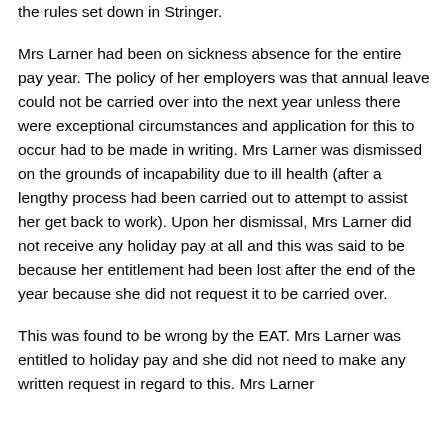the rules set down in Stringer.
Mrs Larner had been on sickness absence for the entire pay year. The policy of her employers was that annual leave could not be carried over into the next year unless there were exceptional circumstances and application for this to occur had to be made in writing. Mrs Larner was dismissed on the grounds of incapability due to ill health (after a lengthy process had been carried out to attempt to assist her get back to work). Upon her dismissal, Mrs Larner did not receive any holiday pay at all and this was said to be because her entitlement had been lost after the end of the year because she did not request it to be carried over.
This was found to be wrong by the EAT. Mrs Larner was entitled to holiday pay and she did not need to make any written request in regard to this. Mrs Larner